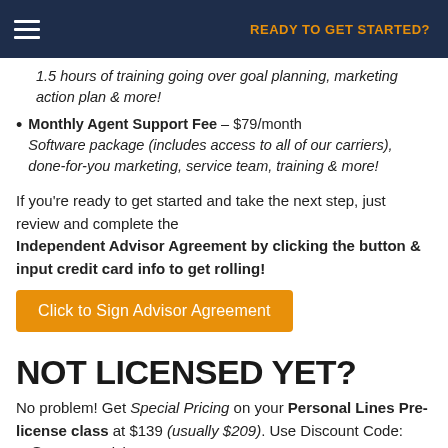READY TO GET STARTED?
1.5 hours of training going over goal planning, marketing action plan & more!
Monthly Agent Support Fee – $79/month Software package (includes access to all of our carriers), done-for-you marketing, service team, training & more!
If you're ready to get started and take the next step, just review and complete the Independent Advisor Agreement by clicking the button & input credit card info to get rolling!
Click to Sign Advisor Agreement
NOT LICENSED YET?
No problem! Get Special Pricing on your Personal Lines Pre-license class at $139 (usually $209). Use Discount Code: pt@getstrategicins.com